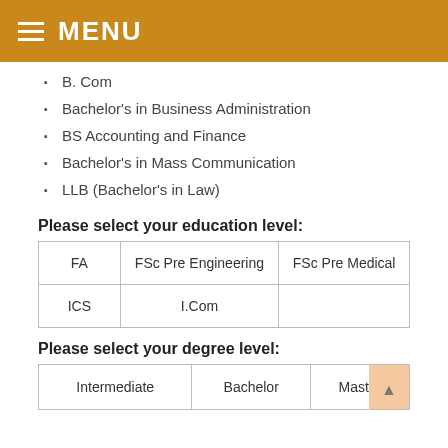MENU
B. Com
Bachelor's in Business Administration
BS Accounting and Finance
Bachelor's in Mass Communication
LLB (Bachelor's in Law)
Please select your education level:
| FA | FSc Pre Engineering | FSc Pre Medical |
| ICS | I.Com |  |
Please select your degree level:
| Intermediate | Bachelor | Master |